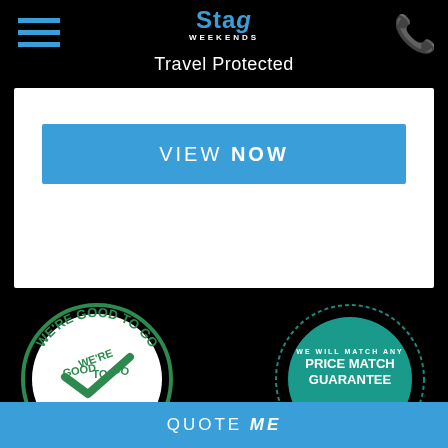[Figure (logo): Stag Weekends logo with hamburger menu and phone icon]
Travel Protected
[Figure (screenshot): VIEW NOW button (blue)]
VILNIUS BEER BIKE
[Figure (screenshot): QUOTE ME button (red)]
[Figure (screenshot): VIEW NOW button (blue)]
[Figure (screenshot): WE'RE GOOD TO GO badge (green circular badge)]
[Figure (screenshot): PRICE MATCH GUARANTEE badge (teal circular badge)]
[Figure (screenshot): QUOTE ME bottom bar (blue)]